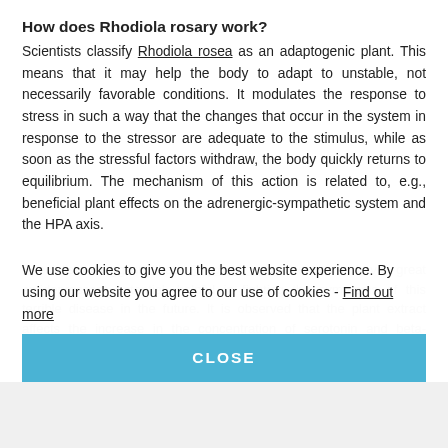How does Rhodiola rosary work?
Scientists classify Rhodiola rosea as an adaptogenic plant. This means that it may help the body to adapt to unstable, not necessarily favorable conditions. It modulates the response to stress in such a way that the changes that occur in the system in response to the stressor are adequate to the stimulus, while as soon as the stressful factors withdraw, the body quickly returns to equilibrium. The mechanism of this action is related to, e.g., beneficial plant effects on the adrenergic-sympathetic system and the HPA axis.
Specialists suggest that Rhodiola rosea extracts have great antidepressant potential, helpful in fighting the symptoms of this terrible disease in the future. It is observed that the plant extract affects the increase in the concentration of serotonin and beta-endorphins, which improves mood and attitude to life.
We use cookies to give you the best website experience. By using our website you agree to our use of cookies - Find out more
CLOSE
Also, note that Rhodiola Rosea promotes an increase in the level of phosphocreatine and ATP in the mitochondria. Thus, the body becomes more vital in...